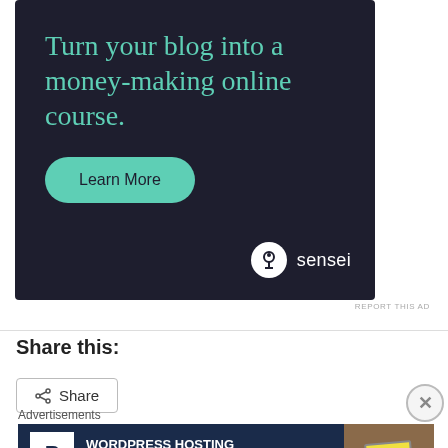[Figure (infographic): Dark-background Sensei ad: 'Turn your blog into a money-making online course.' with a teal 'Learn More' button and Sensei logo]
REPORT THIS AD
Share this:
[Figure (other): Share button with share icon]
[Figure (other): Close/X circle button]
Advertisements
[Figure (infographic): Pressable WordPress hosting ad: 'WORDPRESS HOSTING THAT MEANS BUSINESS.' with P logo and OPEN sign photo]